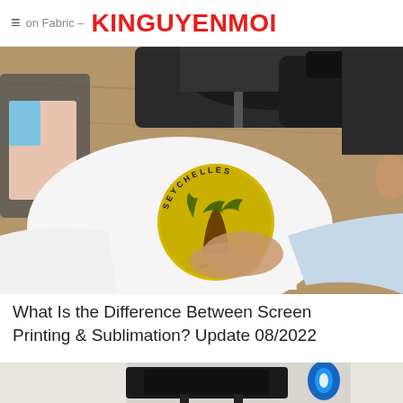≡ on Fabric – KINGUYENMOI
[Figure (photo): Overhead view of a person in a light blue long-sleeve shirt applying a round yellow and brown Seychelles graphic transfer to a white t-shirt on a wooden table, with a heat press machine in the background.]
What Is the Difference Between Screen Printing & Sublimation? Update 08/2022
[Figure (photo): Partial view of a screen printing machine with a blue spool of thread, on a light grey background.]